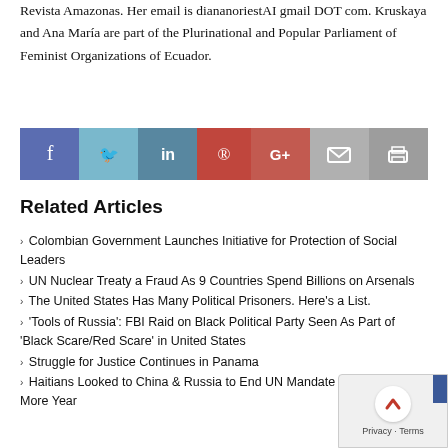Revista Amazonas. Her email is diananoriestAI gmail DOT com. Kruskaya and Ana María are part of the Plurinational and Popular Parliament of Feminist Organizations of Ecuador.
[Figure (infographic): Social media sharing bar with buttons for Facebook, Twitter, LinkedIn, Pinterest, Google+, Email, and Print]
Related Articles
Colombian Government Launches Initiative for Protection of Social Leaders
UN Nuclear Treaty a Fraud As 9 Countries Spend Billions on Arsenals
The United States Has Many Political Prisoners. Here's a List.
'Tools of Russia': FBI Raid on Black Political Party Seen As Part of 'Black Scare/Red Scare' in United States
Struggle for Justice Continues in Panama
Haitians Looked to China & Russia to End UN Mandate Renewed for 1 More Year